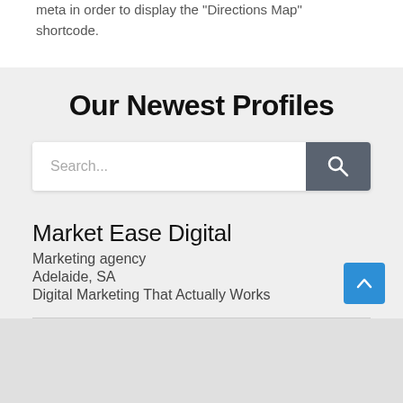meta in order to display the "Directions Map" shortcode.
Our Newest Profiles
[Figure (other): Search bar with text input placeholder 'Search...' and a dark grey search button with magnifying glass icon]
Market Ease Digital
Marketing agency
Adelaide, SA
Digital Marketing That Actually Works